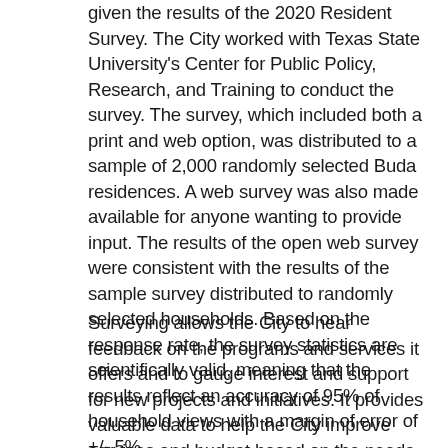given the results of the 2020 Resident Survey. The City worked with Texas State University's Center for Public Policy, Research, and Training to conduct the survey. The survey, which included both a print and web option, was distributed to a sample of 2,000 randomly selected Buda residences. A web survey was also made available for anyone wanting to provide input. The results of the open web survey were consistent with the results of the sample survey distributed to randomly selected households. Based on the response rate, the survey statistics are scientifically valid, meaning that the results reflect an accuracy of 95% of household views with a margin of error of +/- 5%.
Surveying allows the City to hear feedback on the programs and services it offers and to gauge interest and support for new projects and initiatives. It provides valuable data to help the City improve services and budget based on the needs of the residents.